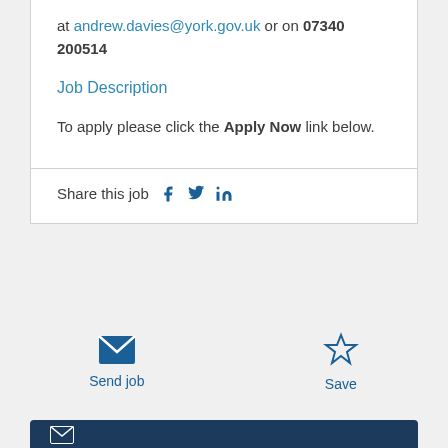at andrew.davies@york.gov.uk or on 07340 200514
Job Description
To apply please click the Apply Now link below.
Share this job
Send job
Save